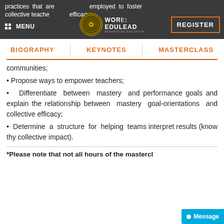practices that are employed to foster collective teacher efficacy;
BIOGRAPHY | KEYNOTES | MASTERCLASS
communities;
• Propose ways to empower teachers;
• Differentiate between mastery and performance goals and explain the relationship between mastery goal-orientations and collective efficacy;
• Determine a structure for helping teams interpret results (know thy collective impact).
*Please note that not all hours of the masterclass